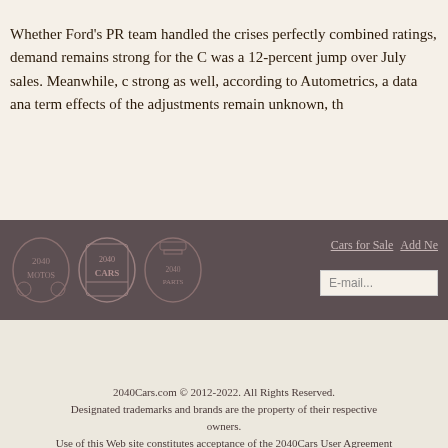Whether Ford's PR team handled the crises perfectly combined ratings, demand remains strong for the C was a 12-percent jump over July sales. Meanwhile, c strong as well, according to Autometrics, a data ana term effects of the adjustments remain unknown, th
[Figure (screenshot): Navigation bar with dark brownish-grey background showing three 2040-branded logos (2040Motos, 2040Cars, 2040Parts), navigation links 'Cars for Sale' and 'Add Ne[w]', and an email input field]
2040Cars.com © 2012-2022. All Rights Reserved.
Designated trademarks and brands are the property of their respective owners.
Use of this Web site constitutes acceptance of the 2040Cars User Agreement
[Figure (screenshot): Advertisement banner: 'Download Helbiz and ride' with dark background and image of person on e-scooter]